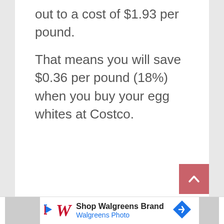out to a cost of $1.93 per pound.
That means you will save $0.36 per pound (18%) when you buy your egg whites at Costco.
[Figure (other): Pink/red scroll-to-top button with white upward arrow chevron]
[Figure (other): Walgreens advertisement banner with logo, 'Shop Walgreens Brand', 'Walgreens Photo', and a blue diamond navigation icon]